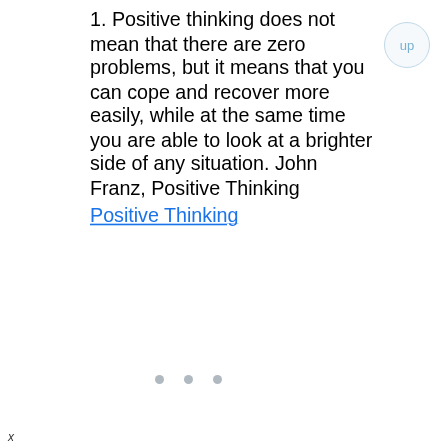1. Positive thinking does not mean that there are zero problems, but it means that you can cope and recover more easily, while at the same time you are able to look at a brighter side of any situation. John Franz, Positive Thinking
Positive Thinking
x